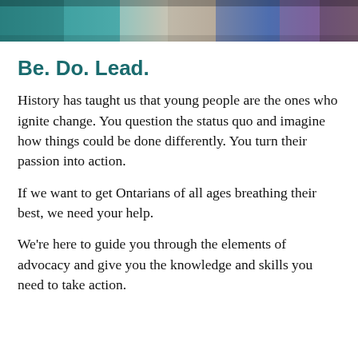[Figure (photo): Banner strip of photos showing young people at the top of the page]
Be. Do. Lead.
History has taught us that young people are the ones who ignite change. You question the status quo and imagine how things could be done differently. You turn their passion into action.
If we want to get Ontarians of all ages breathing their best, we need your help.
We're here to guide you through the elements of advocacy and give you the knowledge and skills you need to take action.